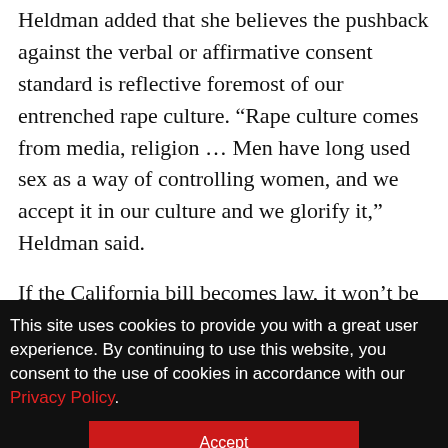Heldman added that she believes the pushback against the verbal or affirmative consent standard is reflective foremost of our entrenched rape culture. “Rape culture comes from media, religion … Men have long used sex as a way of controlling women, and we accept it in our culture and we glorify it,” Heldman said.
If the California bill becomes law, it won’t be a quick fix, she said, but college campuses are the place to begin to shift culture on a small
This site uses cookies to provide you with a great user experience. By continuing to use this website, you consent to the use of cookies in accordance with our Privacy Policy.
Accept